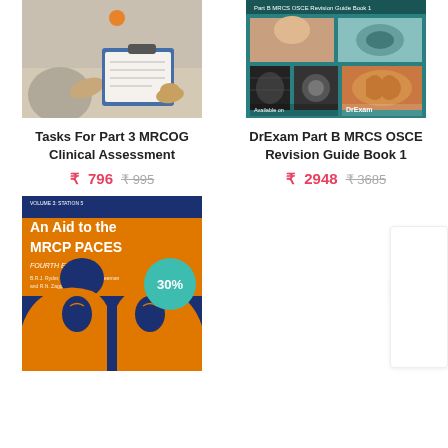[Figure (photo): Book cover: Tasks For Part 3 MRCOG Clinical Assessment - photo of person with clipboard]
Tasks For Part 3 MRCOG Clinical Assessment
₹ 796   ₹ 995
[Figure (photo): Book cover: DrExam Part B MRCS OSCE Revision Guide Book 1 - teal colored medical book cover]
DrExam Part B MRCS OSCE Revision Guide Book 1
₹ 2948   ₹ 3685
[Figure (photo): Book cover: An Aid to the MRCP PACES Volume 3 Station 5 Fourth Edition with 30% badge]
[Figure (other): 30% discount badge (teal circle, partially visible at right edge)]